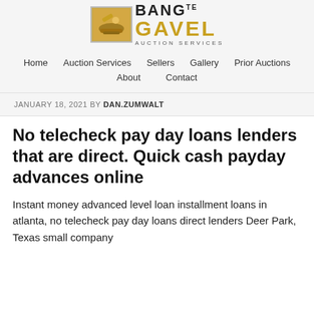[Figure (logo): Bang the Gavel Auction Services logo with gavel image and stylized text]
Home   Auction Services   Sellers   Gallery   Prior Auctions   About   Contact
JANUARY 18, 2021 BY DAN.ZUMWALT
No telecheck pay day loans lenders that are direct. Quick cash payday advances online
Instant money advanced level loan installment loans in atlanta, no telecheck pay day loans direct lenders Deer Park, Texas small company